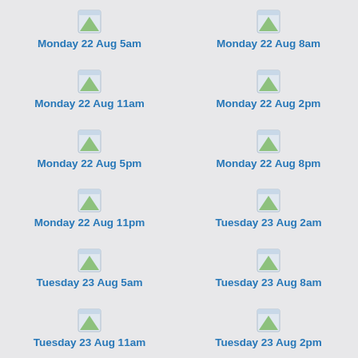[Figure (other): Weather forecast icon grid with timestamps]
Monday 22 Aug 5am
Monday 22 Aug 8am
Monday 22 Aug 11am
Monday 22 Aug 2pm
Monday 22 Aug 5pm
Monday 22 Aug 8pm
Monday 22 Aug 11pm
Tuesday 23 Aug 2am
Tuesday 23 Aug 5am
Tuesday 23 Aug 8am
Tuesday 23 Aug 11am
Tuesday 23 Aug 2pm